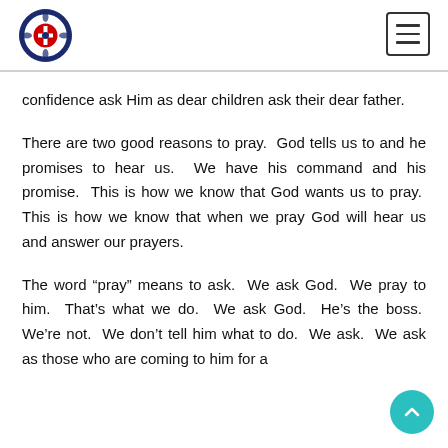Lutheran church website header with logo and navigation menu
confidence ask Him as dear children ask their dear father.
There are two good reasons to pray. God tells us to and he promises to hear us. We have his command and his promise. This is how we know that God wants us to pray. This is how we know that when we pray God will hear us and answer our prayers.
The word “pray” means to ask. We ask God. We pray to him. That’s what we do. We ask God. He’s the boss. We’re not. We don’t tell him what to do. We ask. We ask as those who are coming to him for a